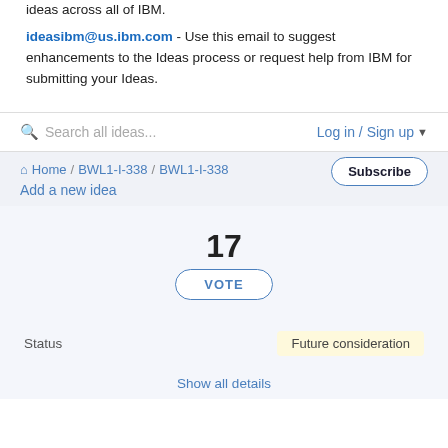ideas across all of IBM.
ideasibm@us.ibm.com - Use this email to suggest enhancements to the Ideas process or request help from IBM for submitting your Ideas.
Search all ideas...
Log in / Sign up
Home / BWL1-I-338 / BWL1-I-338
Add a new idea
Subscribe
17
VOTE
Status
Future consideration
Show all details